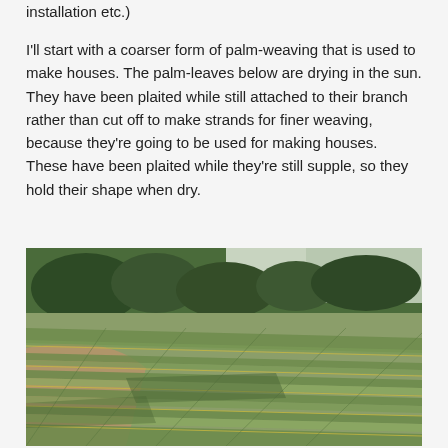installation etc.)
I'll start with a coarser form of palm-weaving that is used to make houses. The palm-leaves below are drying in the sun. They have been plaited while still attached to their branch rather than cut off to make strands for finer weaving, because they're going to be used for making houses. These have been plaited while they're still supple, so they hold their shape when dry.
[Figure (photo): A large open field with many plaited palm-leaves spread out flat on the ground to dry in the sun. Trees and greenery are visible in the background.]